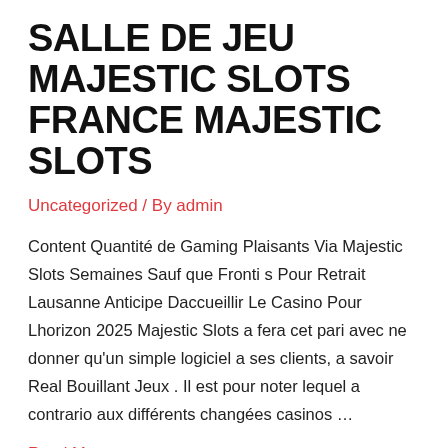SALLE DE JEU MAJESTIC SLOTS FRANCE MAJESTIC SLOTS
Uncategorized / By admin
Content Quantité de Gaming Plaisants Via Majestic Slots Semaines Sauf que Fronti s Pour Retrait Lausanne Anticipe Daccueillir Le Casino Pour Lhorizon 2025 Majestic Slots a fera cet pari avec ne donner qu'un simple logiciel a ses clients, a savoir Real Bouillant Jeux . Il est pour noter lequel a contrario aux différents changées casinos …
Read More »
QUASAR GAMING CASINO